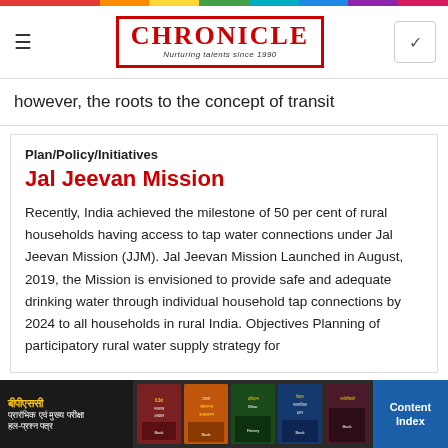CHRONICLE — Nurturing talents since 1990
however, the roots to the concept of transit
Plan/Policy/Initiatives
Jal Jeevan Mission
Recently, India achieved the milestone of 50 per cent of rural households having access to tap water connections under Jal Jeevan Mission (JJM). Jal Jeevan Mission Launched in August, 2019, the Mission is envisioned to provide safe and adequate drinking water through individual household tap connections by 2024 to all households in rural India. Objectives Planning of participatory rural water supply strategy for
[Figure (photo): Bottom banner advertisement showing Chronicle books in Hindi including BPSC exam preparation books with 'Content Index' text on blue background]